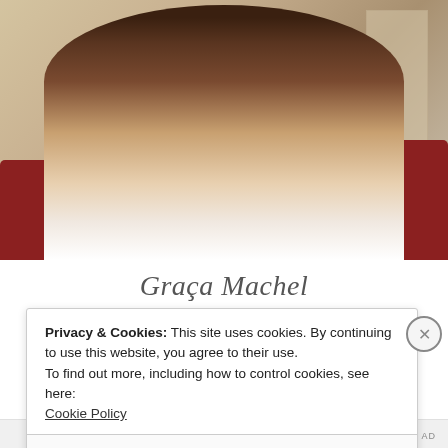[Figure (photo): Portrait photo of Graça Machel, a smiling woman wearing glasses and a white outfit, seated in a red chair against a beige/cream wall paneling background.]
Graça Machel
Privacy & Cookies: This site uses cookies. By continuing to use this website, you agree to their use.
To find out more, including how to control cookies, see here: Cookie Policy
Close and accept